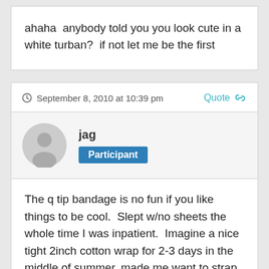ahaha  anybody told you you look cute in a white turban?  if not let me be the first
September 8, 2010 at 10:39 pm   Quote
jag
Participant
The q tip bandage is no fun if you like things to be cool.  Slept w/no sheets the whole time I was inpatient.  Imagine a nice tight 2inch cotton wrap for 2-3 days in the middle of summer, made me want to strap a bomb to myself and pray facing Mecca 5 times